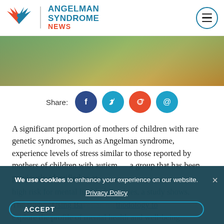ANGELMAN SYNDROME NEWS
[Figure (photo): Close-up photo of hands outdoors with green grass and path in background]
Share:
[Figure (infographic): Social share buttons: Facebook, Twitter, Reddit, Email]
A significant proportion of mothers of children with rare genetic syndromes, such as Angelman syndrome, experience levels of stress similar to those reported by mothers of children with autism — a group that has been previously identified as at high risk for mental health difficulties, a study shows.
The study, "Using Bayesian methodology to explore the profile of mental health and well-being
We use cookies to enhance your experience on our website. Privacy Policy ACCEPT